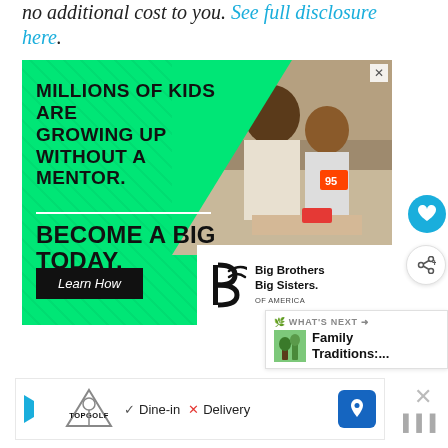no additional cost to you. See full disclosure here.
[Figure (photo): Big Brothers Big Sisters of America advertisement: Green background with photo of adult man and child working together, text 'MILLIONS OF KIDS ARE GROWING UP WITHOUT A MENTOR. BECOME A BIG TODAY.' with 'Learn How' button and BBBS logo]
[Figure (other): What's Next panel showing 'Family Traditions:...' teaser with thumbnail]
[Figure (other): Topgolf advertisement bar showing Dine-in checkmark and Delivery X options with map icon]